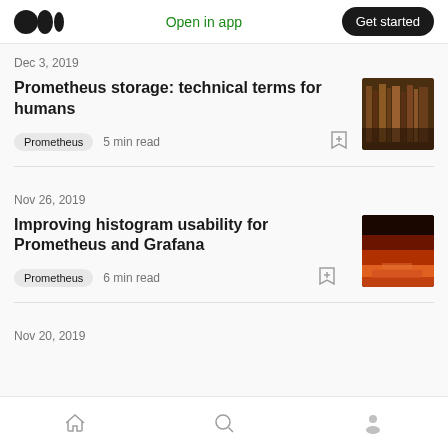Medium logo | Open in app | Get started
Dec 3, 2019
Prometheus storage: technical terms for humans
Prometheus  5 min read
[Figure (photo): Thumbnail image of bookshelves with books]
Nov 26, 2019
Improving histogram usability for Prometheus and Grafana
Prometheus  6 min read
[Figure (photo): Thumbnail image of fiery red sky or data visualization]
Nov 20, 2019
Home | Search | Profile